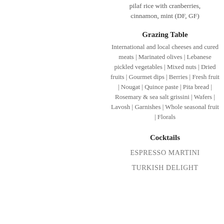pilaf rice with cranberries, cinnamon, mint (DF, GF)
Grazing Table
International and local cheeses and cured meats | Marinated olives | Lebanese pickled vegetables | Mixed nuts | Dried fruits | Gourmet dips | Berries | Fresh fruit | Nougat | Quince paste | Pita bread | Rosemary & sea salt grissini | Wafers | Lavosh | Garnishes | Whole seasonal fruit | Florals
Cocktails
ESPRESSO MARTINI
TURKISH DELIGHT